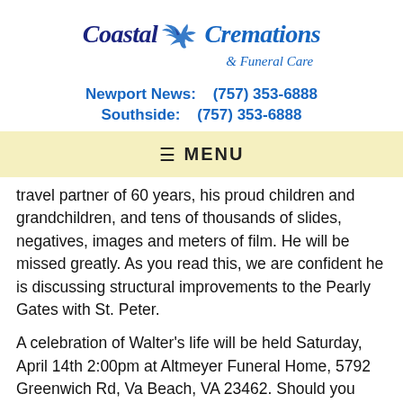[Figure (logo): Coastal Cremations & Funeral Care logo with blue dove/bird graphic, company name in dark blue italic serif font]
Newport News:    (757) 353-6888
Southside:    (757) 353-6888
≡  MENU
travel partner of 60 years, his proud children and grandchildren, and tens of thousands of slides, negatives, images and meters of film. He will be missed greatly. As you read this, we are confident he is discussing structural improvements to the Pearly Gates with St. Peter.
A celebration of Walter's life will be held Saturday, April 14th 2:00pm at Altmeyer Funeral Home, 5792 Greenwich Rd, Va Beach, VA 23462. Should you desire,